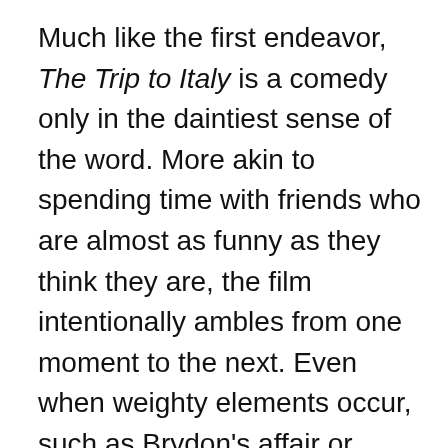Much like the first endeavor, The Trip to Italy is a comedy only in the daintiest sense of the word. More akin to spending time with friends who are almost as funny as they think they are, the film intentionally ambles from one moment to the next. Even when weighty elements occur, such as Brydon's affair or Coogan's problematic relationship with his son, they mostly brew deep inside the internal waters of these men, only burping a bubble or two visibly above the surface. Much in the same way that Richard Linklater's Before Sunrise series is stunningly honest about romantic love, this series is fast establishing itself as one of the more realistic fictional depictions of friendship